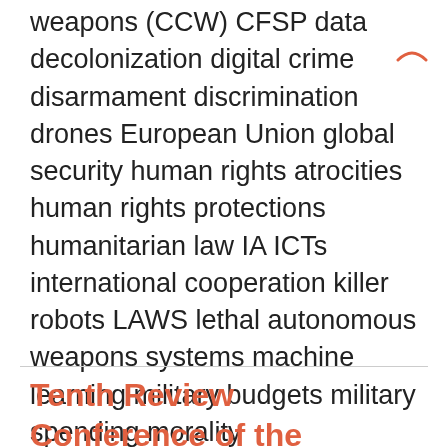weapons (CCW) CFSP data decolonization digital crime disarmament discrimination drones European Union global security human rights atrocities human rights protections humanitarian law IA ICTs international cooperation killer robots LAWS lethal autonomous weapons systems machine learning military budgets military spending morality multilateralism nonproliferation nuclear weapons peacebuilding regulation SDGs SIPRI systemic racism technology UNODA victim advocacy violence prevention weapons restrictions
Tenth Review Conference of the Parties to the Non-